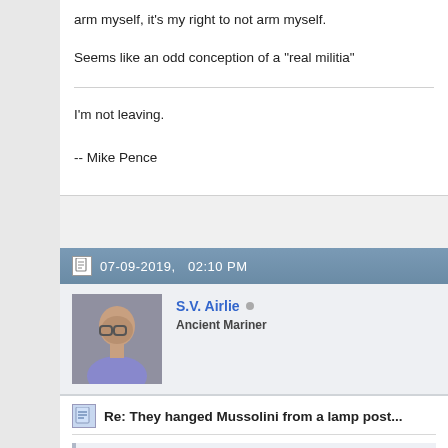arm myself, it's my right to not arm myself.
Seems like an odd conception of a "real militia"
I'm not leaving.

-- Mike Pence
07-09-2019,   02:10 PM
S.V. Airlie
Ancient Mariner
Re: They hanged Mussolini from a lamp post...
Originally Posted by Osborne Russell
Controlled how?